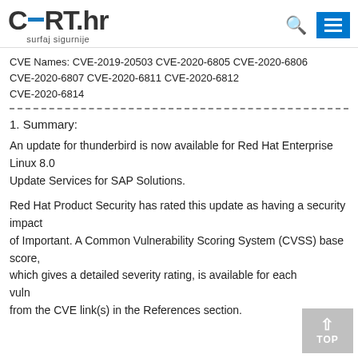CERT.hr – surfaj sigurnije
CVE Names: CVE-2019-20503 CVE-2020-6805 CVE-2020-6806 CVE-2020-6807 CVE-2020-6811 CVE-2020-6812 CVE-2020-6814
1. Summary:
An update for thunderbird is now available for Red Hat Enterprise Linux 8.0
Update Services for SAP Solutions.
Red Hat Product Security has rated this update as having a security impact
of Important. A Common Vulnerability Scoring System (CVSS) base score,
which gives a detailed severity rating, is available for each vulnerability
from the CVE link(s) in the References section.